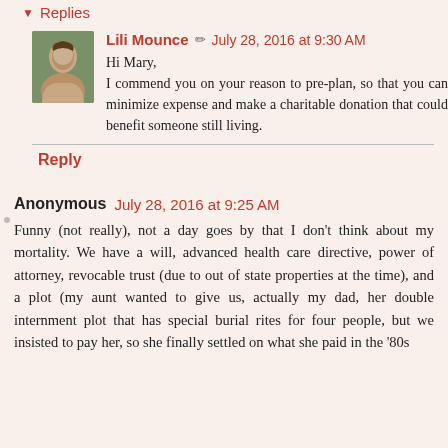Replies
Lili Mounce July 28, 2016 at 9:30 AM
Hi Mary,
I commend you on your reason to pre-plan, so that you can minimize expense and make a charitable donation that could benefit someone still living.
Reply
Anonymous July 28, 2016 at 9:25 AM
Funny (not really), not a day goes by that I don't think about my mortality. We have a will, advanced health care directive, power of attorney, revocable trust (due to out of state properties at the time), and a plot (my aunt wanted to give us, actually my dad, her double internment plot that has special burial rites for four people, but we insisted to pay her, so she finally settled on what she paid in the '80s